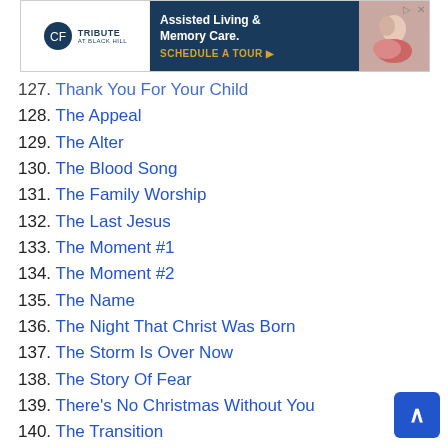[Figure (other): Advertisement banner for Tribute at Black Hill - Assisted Living & Memory Care with Schedule a Tour call to action]
127. Thank You For Your Child
128. The Appeal
129. The Alter
130. The Blood Song
131. The Family Worship
132. The Last Jesus
133. The Moment #1
134. The Moment #2
135. The Name
136. The Night That Christ Was Born
137. The Storm Is Over Now
138. The Story Of Fear
139. There's No Christmas Without You
140. The Transition